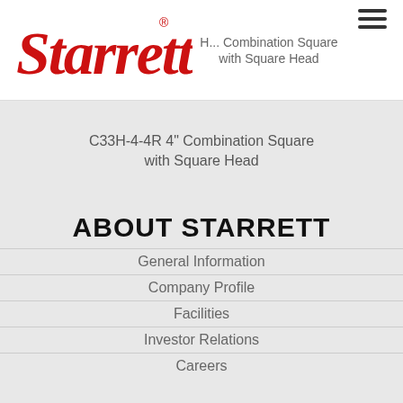[Figure (logo): Starrett red stylized logo wordmark with registered trademark symbol]
H... Combination Square with Square Head
C33H-4-4R 4" Combination Square with Square Head
ABOUT STARRETT
General Information
Company Profile
Facilities
Investor Relations
Careers